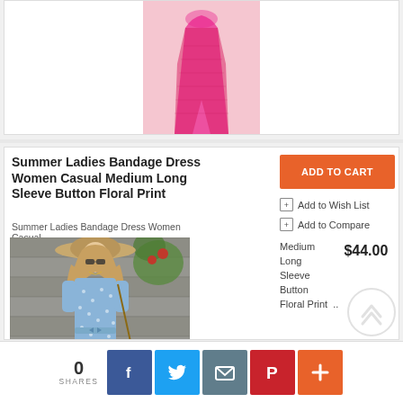[Figure (photo): Pink dress product photo, partially visible at top of page]
Summer Ladies Bandage Dress Women Casual Medium Long Sleeve Button Floral Print
Summer Ladies Bandage Dress Women Casual
[Figure (photo): Woman wearing a blue floral print midi dress with a straw hat and crossbody bag, standing against a wooden wall with plants]
ADD TO CART
Add to Wish List
Add to Compare
Medium Long Sleeve Button Floral Print  ..  $44.00
0
SHARES